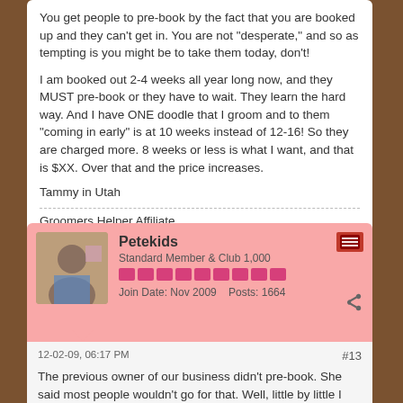You get people to pre-book by the fact that you are booked up and they can't get in. You are not "desperate," and so as tempting is you might be to take them today, don't!
I am booked out 2-4 weeks all year long now, and they MUST pre-book or they have to wait. They learn the hard way. And I have ONE doodle that I groom and to them "coming in early" is at 10 weeks instead of 12-16! So they are charged more. 8 weeks or less is what I want, and that is $XX. Over that and the price increases.
Tammy in Utah
Groomers Helper Affiliate
Petekids
Standard Member & Club 1,000
Join Date: Nov 2009    Posts: 1664
12-02-09, 06:17 PM
#13
The previous owner of our business didn't pre-book. She said most people wouldn't go for that. Well, little by little I